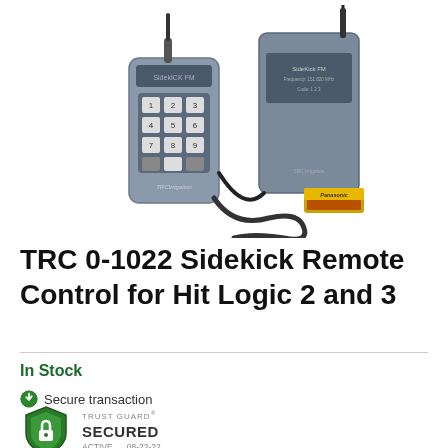[Figure (photo): TRC 0-1022 Sidekick Remote Control product photo showing a handheld remote control with numeric keypad and a receiver unit, along with a lanyard and Panasonic batteries, on a white background.]
TRC 0-1022 Sidekick Remote Control for Hit Logic 2 and 3
In Stock
Secure transaction
[Figure (logo): Trust Guard Secured badge with shield icon, showing ACTIVE 08-22-22]